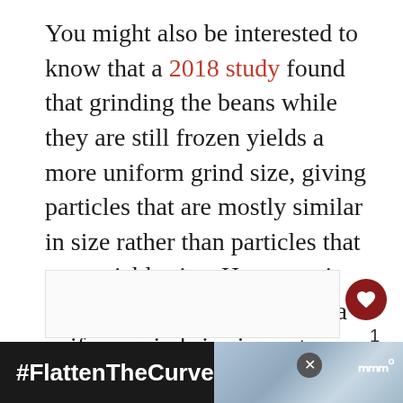You might also be interested to know that a 2018 study found that grinding the beans while they are still frozen yields a more uniform grind size, giving particles that are mostly similar in size rather than particles that are variable size. However, it has not yet been shown how a uniform grind size impacts flavor.
[Figure (other): Heart (like) button, like count '1', and share button on right side of page]
[Figure (other): Advertisement banner at bottom: dark background with #FlattenTheCurve text, image of hands washing, close button, and weather channel logo]